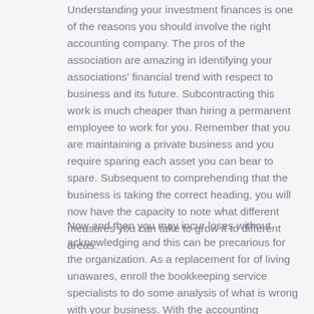Understanding your investment finances is one of the reasons you should involve the right accounting company. The pros of the association are amazing in identifying your associations' financial trend with respect to business and its future. Subcontracting this work is much cheaper than hiring a permanent employee to work for you. Remember that you are maintaining a private business and you require sparing each asset you can bear to spare. Subsequent to comprehending that the business is taking the correct heading, you will now have the capacity to note what different measures you can take to grow it to different areas.
Now and then you may incur loses without acknowledging and this can be precarious for the organization. As a replacement for of living unawares, enroll the bookkeeping service specialists to do some analysis of what is wrong with your business. With the accounting experts, it is easy to learn where you need to